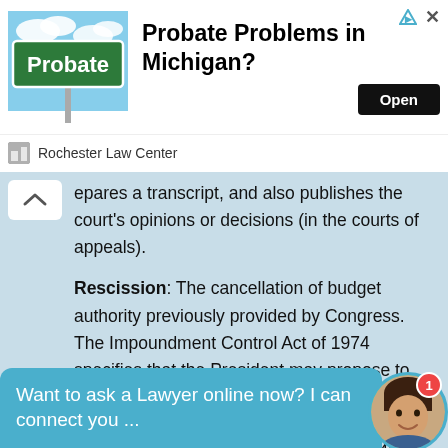[Figure (infographic): Advertisement banner for Rochester Law Center showing a green Probate street sign against blue sky, with headline 'Probate Problems in Michigan?' and an 'Open' button]
epares a transcript, and also publishes the court's opinions or decisions (in the courts of appeals).
Rescission: The cancellation of budget authority previously provided by Congress. The Impoundment Control Act of 1974 specifies that the President may propose to Congress that funds be rescinded. If both Houses have not approved a rescission proposal (by passing legislation) within 45 days of continuous session, any funds being withheld must be made available for obligation.
Want to ask a Lawyer online now? I can connect you ...
for use as a private temporary or permanent residence,